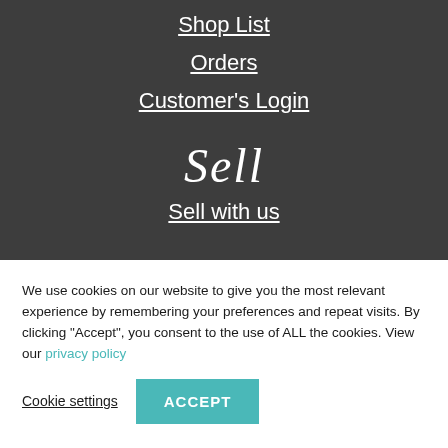Shop List
Orders
Customer's Login
[Figure (illustration): Decorative cursive script text reading 'Sell' in white on dark background]
Sell with us
We use cookies on our website to give you the most relevant experience by remembering your preferences and repeat visits. By clicking “Accept”, you consent to the use of ALL the cookies. View our privacy policy
Cookie settings | ACCEPT